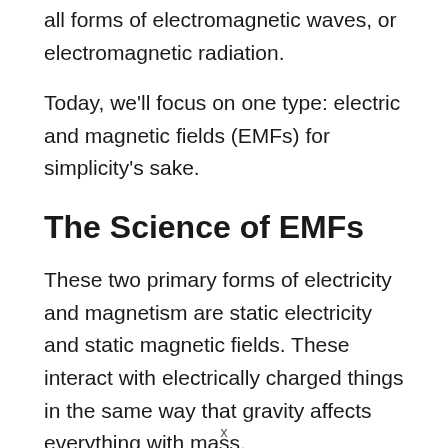all forms of electromagnetic waves, or electromagnetic radiation.
Today, we'll focus on one type: electric and magnetic fields (EMFs) for simplicity's sake.
The Science of EMFs
These two primary forms of electricity and magnetism are static electricity and static magnetic fields. These interact with electrically charged things in the same way that gravity affects everything with mass.
x